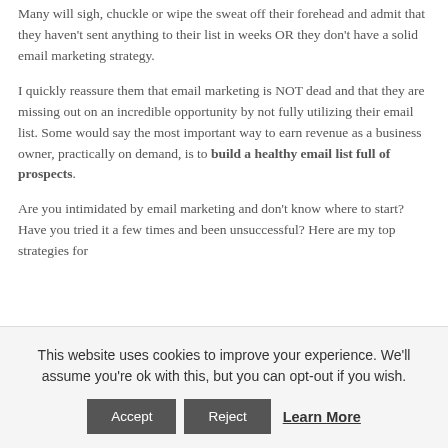Many will sigh, chuckle or wipe the sweat off their forehead and admit that they haven't sent anything to their list in weeks OR they don't have a solid email marketing strategy.
I quickly reassure them that email marketing is NOT dead and that they are missing out on an incredible opportunity by not fully utilizing their email list. Some would say the most important way to earn revenue as a business owner, practically on demand, is to build a healthy email list full of prospects.
Are you intimidated by email marketing and don't know where to start? Have you tried it a few times and been unsuccessful? Here are my top strategies for...
This website uses cookies to improve your experience. We'll assume you're ok with this, but you can opt-out if you wish.